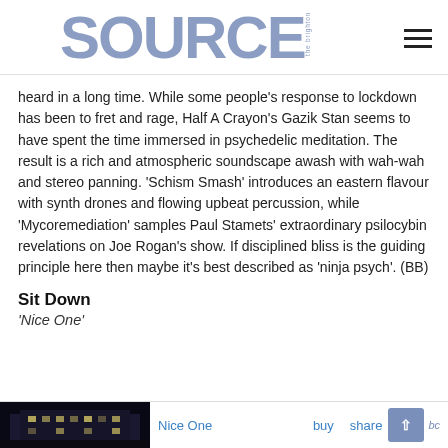SOURCE the brighton
heard in a long time. While some people's response to lockdown has been to fret and rage, Half A Crayon's Gazik Stan seems to have spent the time immersed in psychedelic meditation. The result is a rich and atmospheric soundscape awash with wah-wah and stereo panning. 'Schism Smash' introduces an eastern flavour with synth drones and flowing upbeat percussion, while 'Mycoremediation' samples Paul Stamets' extraordinary psilocybin revelations on Joe Rogan's show. If disciplined bliss is the guiding principle here then maybe it's best described as 'ninja psych'. (BB)
Sit Down
'Nice One'
[Figure (screenshot): Bandcamp player widget showing album artwork of a dark building at night with 'Nice One' track title and buy/share links]